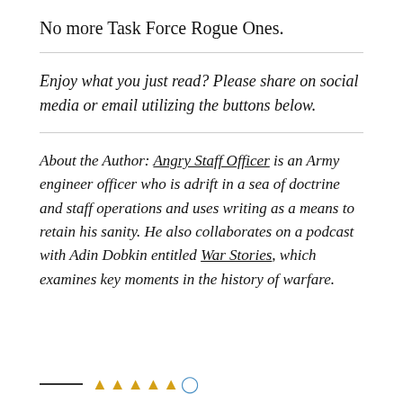No more Task Force Rogue Ones.
Enjoy what you just read? Please share on social media or email utilizing the buttons below.
About the Author: Angry Staff Officer is an Army engineer officer who is adrift in a sea of doctrine and staff operations and uses writing as a means to retain his sanity. He also collaborates on a podcast with Adin Dobkin entitled War Stories, which examines key moments in the history of warfare.
★★★★★ (stars rating icons)